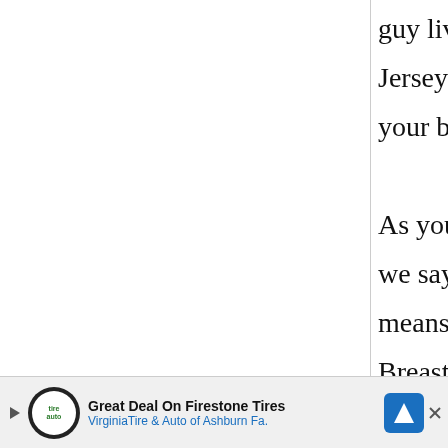guy living in New Jersey. I always enjoy your blog.

As you pointed, when we say chicken it means dark meat. Breast meat is considered too bland, and I think it is used ground. I have read a blog by a Japanese person living in the US.
[Figure (other): Advertisement banner for Firestone Tires / VirginiaTire & Auto of Ashburn Fa. with logo, play button, close button, and navigation icon.]